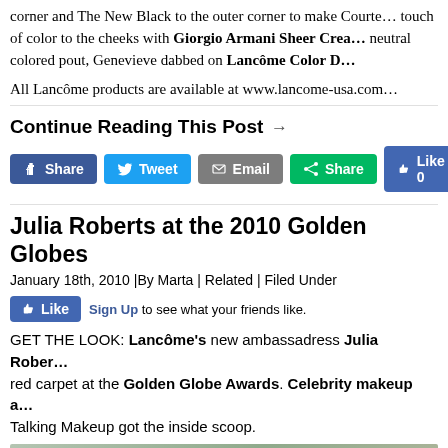corner and The New Black to the outer corner to make Courte… touch of color to the cheeks with Giorgio Armani Sheer Crea… neutral colored pout, Genevieve dabbed on Lancôme Color D…
All Lancôme products are available at www.lancome-usa.com
Continue Reading This Post →
[Figure (screenshot): Social sharing buttons: Facebook Share, Tweet, Email, Share (green), Like 0 (Facebook like button)]
Julia Roberts at the 2010 Golden Globes
January 18th, 2010 |By Marta | Related | Filed Under
[Figure (screenshot): Facebook Like button with 'Sign Up to see what your friends like.']
GET THE LOOK: Lancôme's new ambassadress Julia Rober… red carpet at the Golden Globe Awards. Celebrity makeup a… Talking Makeup got the inside scoop.
[Figure (photo): Partial photo of a person (Julia Roberts) at the Golden Globes]